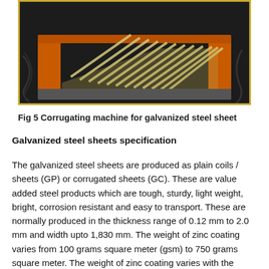[Figure (photo): Photo of a corrugating machine for galvanized steel sheet showing corrugated metal sheets on an orange-framed industrial machine]
Fig 5 Corrugating machine for galvanized steel sheet
Galvanized steel sheets specification
The galvanized steel sheets are produced as plain coils / sheets (GP) or corrugated sheets (GC). These are value added steel products which are tough, sturdy, light weight, bright, corrosion resistant and easy to transport. These are normally produced in the thickness range of 0.12 mm to 2.0 mm and width upto 1,830 mm. The weight of zinc coating varies from 100 grams square meter (gsm) to 750 grams square meter. The weight of zinc coating varies with the thickness of the steel sheet and the application of